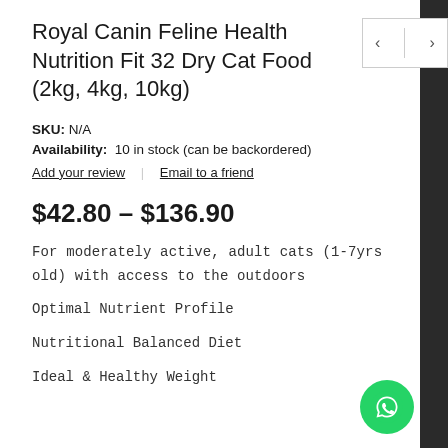Royal Canin Feline Health Nutrition Fit 32 Dry Cat Food (2kg, 4kg, 10kg)
SKU: N/A
Availability: 10 in stock (can be backordered)
Add your review | Email to a friend
$42.80 – $136.90
For moderately active, adult cats (1-7yrs old) with access to the outdoors
Optimal Nutrient Profile
Nutritional Balanced Diet
Ideal & Healthy Weight